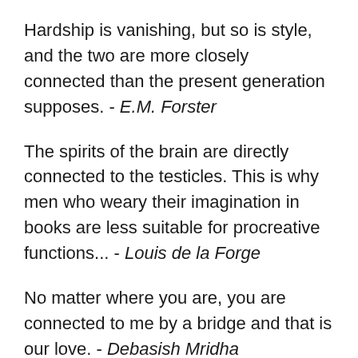Hardship is vanishing, but so is style, and the two are more closely connected than the present generation supposes. - E.M. Forster
The spirits of the brain are directly connected to the testicles. This is why men who weary their imagination in books are less suitable for procreative functions... - Louis de la Forge
No matter where you are, you are connected to me by a bridge and that is our love. - Debasish Mridha
Isn't it what life is about, after all? A series